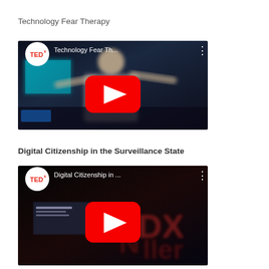Technology Fear Therapy
[Figure (screenshot): YouTube TEDx video thumbnail for 'Technology Fear Th...' showing a presenter on stage with arms outstretched, with TEDx logo, video title overlay, three-dot menu, and red play button]
Digital Citizenship in the Surveillance State
[Figure (screenshot): YouTube TEDx video thumbnail for 'Digital Citizenship in ...' showing a dark stage with text and TEDx branding visible, with TEDx logo, video title overlay, three-dot menu, and red play button]